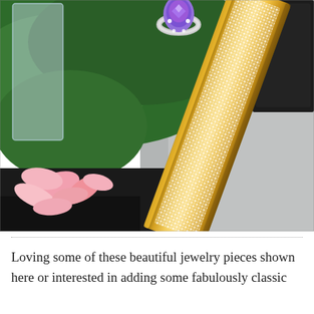[Figure (photo): A photograph showing jewelry pieces including a gold bar/clip covered in sparkling crystals/diamonds, a purple gemstone ring, arranged near pink flowers and green foliage on a grey surface, with a black monitor visible in the background.]
Loving some of these beautiful jewelry pieces shown here or interested in adding some fabulously classic